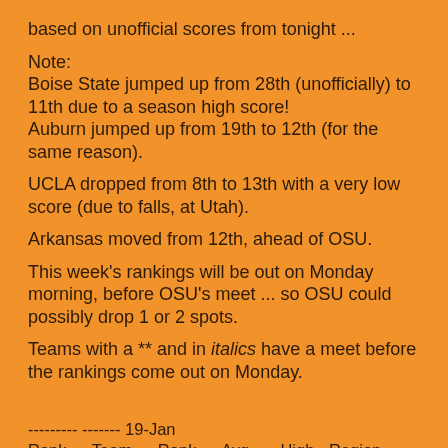based on unofficial scores from tonight ...
Note:
Boise State jumped up from 28th (unofficially) to 11th due to a season high score!
Auburn jumped up from 19th to 12th (for the same reason).
UCLA dropped from 8th to 13th with a very low score (due to falls, at Utah).
Arkansas moved from 12th, ahead of OSU.
This week's rankings will be out on Monday morning, before OSU's meet ... so OSU could possibly drop 1 or 2 spots.
Teams with a ** and in italics have a meet before the rankings come out on Monday.
--------- ------- 19-Jan
Rank --- Team --- Rank --- Avg ---- High - Region ---
1/24 --- ------------- --- --- ------- --- ------- --- ---
1 --- Oklahoma --- T1 --- 197.225 --- 197.350 --- SC ---